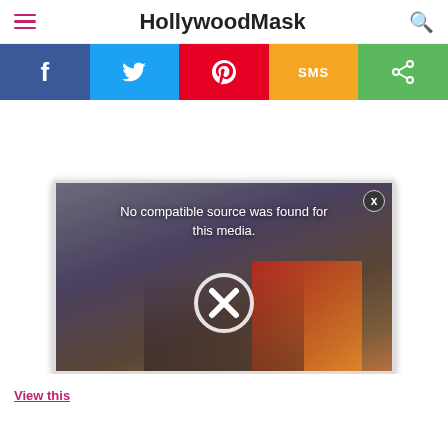HollywoodMask
[Figure (infographic): Social sharing bar with five buttons: Facebook (blue), Twitter (light blue), Pinterest (red), SMS (orange/yellow), Share (green)]
[Figure (screenshot): Video player showing error message: No compatible source was found for this media. Dark background with figures visible. Close button top right. Large X circle icon in center.]
View this